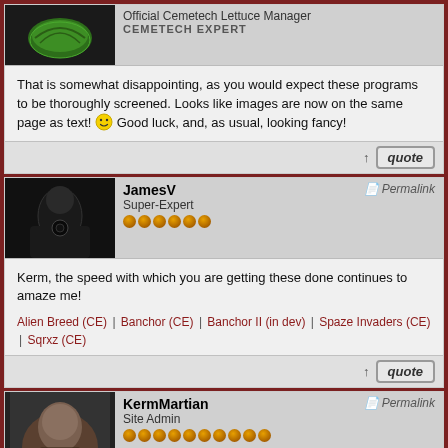Official Cemetech Lettuce Manager
CEMETECH EXPERT
That is somewhat disappointing, as you would expect these programs to be thoroughly screened. Looks like images are now on the same page as text! [smiley] Good luck, and, as usual, looking fancy!
JamesV
Super-Expert
[pips x6]
Kerm, the speed with which you are getting these done continues to amaze me!
Alien Breed (CE) | Banchor (CE) | Banchor II (in dev) | Spaze Invaders (CE) | Sqrxz (CE)
KermMartian
Site Admin
[pips x10]
Thank you for the encouragement, guys. [smiley] I've transcribed just about all the text, and I'm really only dragging my feet on one image page and one "simulation". For the simulation, I'm really not happy with the clarity; I'm probably going to try to bump up the contrast and pick a more xLIBC-friendly background color (left).